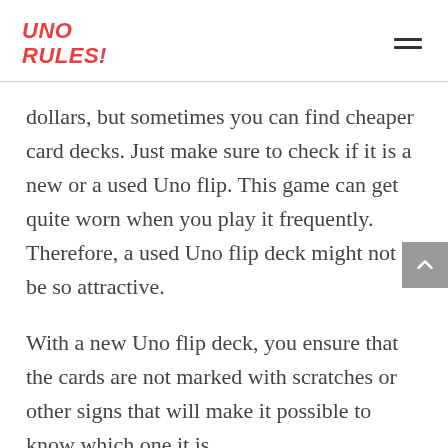UNO RULES!
dollars, but sometimes you can find cheaper card decks. Just make sure to check if it is a new or a used Uno flip. This game can get quite worn when you play it frequently. Therefore, a used Uno flip deck might not be so attractive.
With a new Uno flip deck, you ensure that the cards are not marked with scratches or other signs that will make it possible to know which one it is.